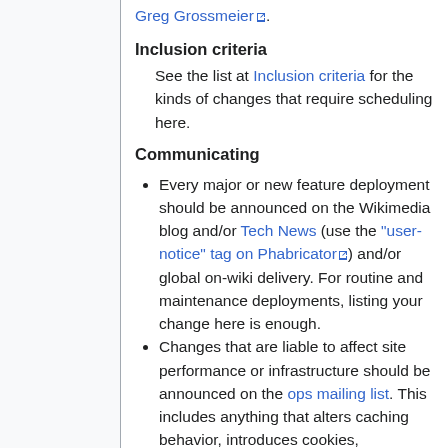Greg Grossmeier.
Inclusion criteria
See the list at Inclusion criteria for the kinds of changes that require scheduling here.
Communicating
Every major or new feature deployment should be announced on the Wikimedia blog and/or Tech News (use the "user-notice" tag on Phabricator) and/or global on-wiki delivery. For routine and maintenance deployments, listing your change here is enough.
Changes that are liable to affect site performance or infrastructure should be announced on the ops mailing list. This includes anything that alters caching behavior, introduces cookies, substantially increases the